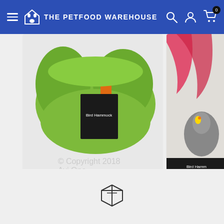The Petfood Warehouse
[Figure (screenshot): Product card showing Avi One Bird Hammock Closed Small in green, price $17.90, with copyright watermark '© Copyright 2018 Avi One']
[Figure (screenshot): Partial product card showing Avi One Bird Pouch with bird image, price $26.90, partially cut off on right side]
[Figure (illustration): Box/package icon in dark outline style at bottom center of page]